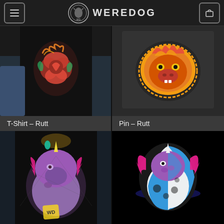WEREDOG
[Figure (photo): Person wearing black t-shirt with colorful rose/dragon tattoo-style graphic (T-Shirt – Rutt product photo)]
[Figure (photo): Pin product on dark background showing orange/red/gold dragon face design (Pin – Rutt product photo)]
T-Shirt – Rutt
Pin – Rutt
[Figure (photo): Person wearing black t-shirt with purple/pink dragon unicorn graphic]
[Figure (photo): Pin product on black background showing purple/pink/blue dragon unicorn design with bisexual pride colors]